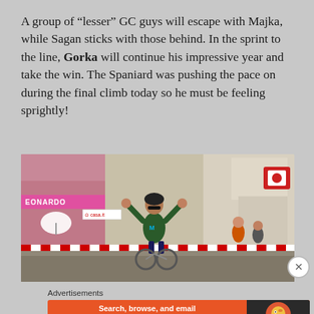A group of “lesser” GC guys will escape with Majka, while Sagan sticks with those behind. In the sprint to the line, Gorka will continue his impressive year and take the win. The Spaniard was pushing the pace on during the final climb today so he must be feeling sprightly!
[Figure (photo): A cyclist (wearing dark jersey with Movistar logo) crossing the finish line with arms raised in celebration at what appears to be the Giro d'Italia race, with crowd and banners visible on the street.]
Advertisements
[Figure (screenshot): DuckDuckGo advertisement banner: orange background with text 'Search, browse, and email with more privacy. All in One Free App' and DuckDuckGo logo on dark right panel.]